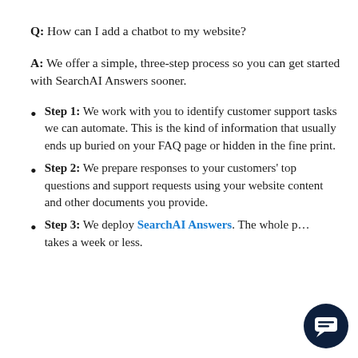Q: How can I add a chatbot to my website?
A: We offer a simple, three-step process so you can get started with SearchAI Answers sooner.
Step 1: We work with you to identify customer support tasks we can automate. This is the kind of information that usually ends up buried on your FAQ page or hidden in the fine print.
Step 2: We prepare responses to your customers' top questions and support requests using your website content and other documents you provide.
Step 3: We deploy SearchAI Answers. The whole p… takes a week or less.
[Figure (illustration): Dark navy circular chat bubble icon in bottom-right corner]